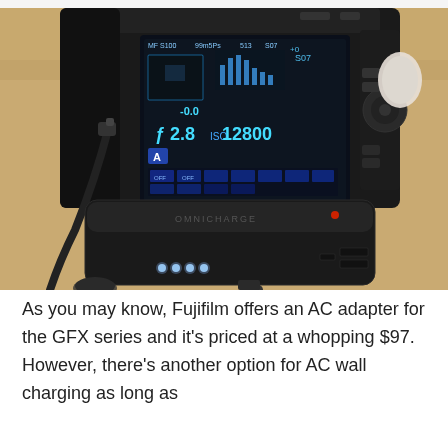[Figure (photo): A Fujifilm GFX series camera with its LCD screen showing camera settings (aperture f/2.8, ISO 12800), connected via cable to a large black power bank/battery pack on a wooden table. The power bank shows four LED indicator lights and has USB ports visible on its side.]
As you may know, Fujifilm offers an AC adapter for the GFX series and it's priced at a whopping $97. However, there's another option for AC wall charging as long as